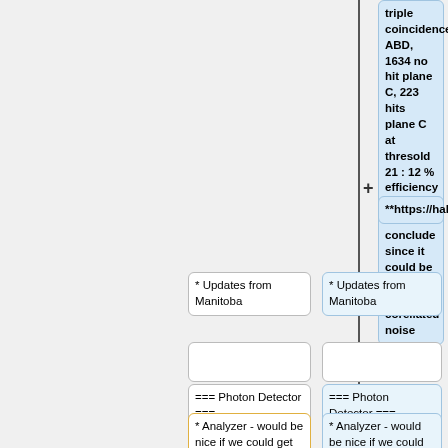triple coincidence ABD, 1634 no hit plane C, 223 hits plane C at thresold 21 : 12 % efficiency though cannot conclude since it could be photons and corellated noise
**https://hallaweb.jlab.org/dvcslog/compton/366
* Updates from Manitoba
* Updates from Manitoba
=== Photon Detector ===
=== Photon Detector ===
* Analyzer - would be nice if we could get "real" background
* Analyzer - would be nice if we could get background subtracted